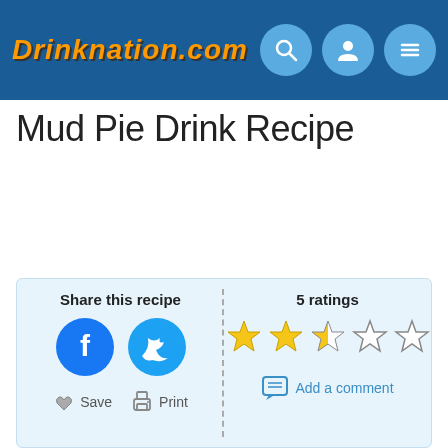DRINKNATION.COM
Mud Pie Drink Recipe
Share this recipe | 5 ratings | Add a comment | Save | Print